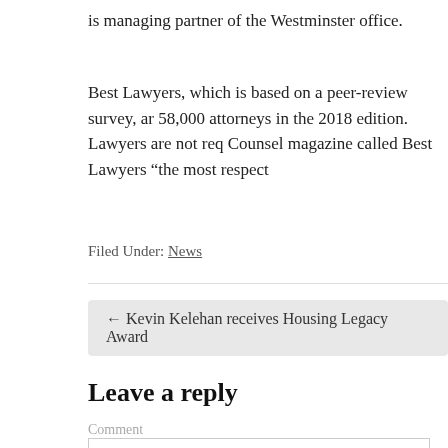is managing partner of the Westminster office.
Best Lawyers, which is based on a peer-review survey, and 58,000 attorneys in the 2018 edition. Lawyers are not req Counsel magazine called Best Lawyers “the most respect
Filed Under: News
← Kevin Kelehan receives Housing Legacy Award
Leave a reply
Comment